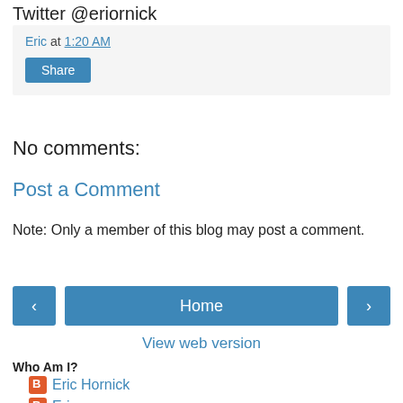Twitter @eriornick
Eric at 1:20 AM
Share
No comments:
Post a Comment
Note: Only a member of this blog may post a comment.
[Figure (other): Navigation bar with back arrow, Home button, and forward arrow]
View web version
Who Am I?
Eric Hornick
Eric